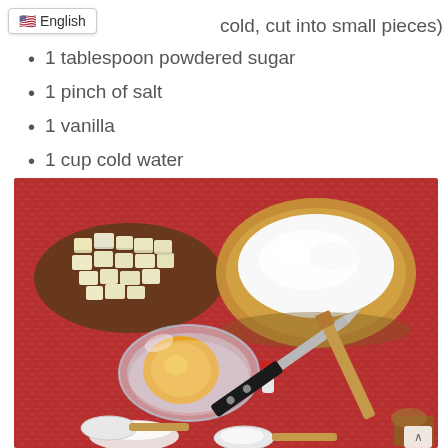(cold, cut into small pieces)
1 tablespoon powdered sugar
1 pinch of salt
1 vanilla
1 cup cold water
[Figure (photo): Baking ingredients on a red woven tablecloth: chopped butter on a wooden board (top left), a wooden bowl of flour (top right), a glass bowl with egg yolks (center left), a small red-capped vanilla bottle, a kitchen knife, a wooden spatula, and measuring spoons with sugar/salt at the bottom.]